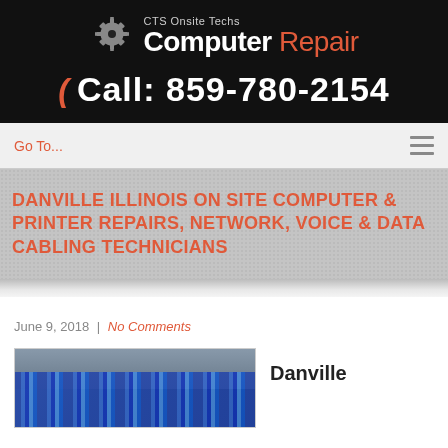[Figure (logo): CTS Onsite Techs Computer Repair logo with gear icon on black background]
Call: 859-780-2154
Go To...
DANVILLE ILLINOIS ON SITE COMPUTER & PRINTER REPAIRS, NETWORK, VOICE & DATA CABLING TECHNICIANS
June 9, 2018 | No Comments
[Figure (photo): Close-up photo of bundled blue network cables]
Danville